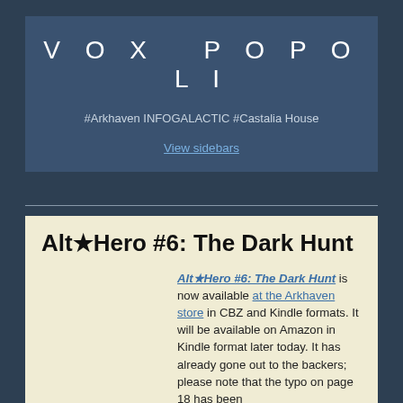VOX POPOLI
#Arkhaven INFOGALACTIC #Castalia House
View sidebars
Alt★Hero #6: The Dark Hunt
Alt★Hero #6: The Dark Hunt is now available at the Arkhaven store in CBZ and Kindle formats. It will be available on Amazon in Kindle format later today. It has already gone out to the backers; please note that the typo on page 18 has been